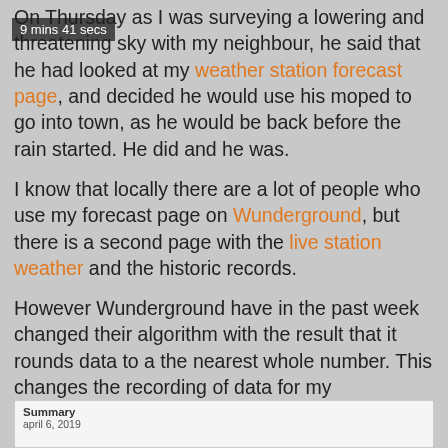9 mins 41 secs
On Thursday as I was surveying a lowering and threatening sky with my neighbour, he said that he had looked at my weather station forecast page, and decided he would use his moped to go into town, as he would be back before the rain started. He did and he was.
I know that locally there are a lot of people who use my forecast page on Wunderground, but there is a second page with the live station weather and the historic records.
However Wunderground have in the past week changed their algorithm with the result that it rounds data to a the nearest whole number. This changes the recording of data for my spreadsheet but also the look of the charts is strange, with long straight lines then a sudden jump to the next higher temperature.
Summary
april 6, 2019